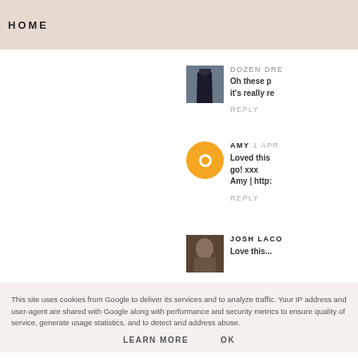HOME
Oh these p it's really re
DOZEN DRE
REPLY
AMY 1 APR
Loved this go! xxx Amy | http:
REPLY
JOSH LACO
Love this...
This site uses cookies from Google to deliver its services and to analyze traffic. Your IP address and user-agent are shared with Google along with performance and security metrics to ensure quality of service, generate usage statistics, and to detect and address abuse.
LEARN MORE
OK